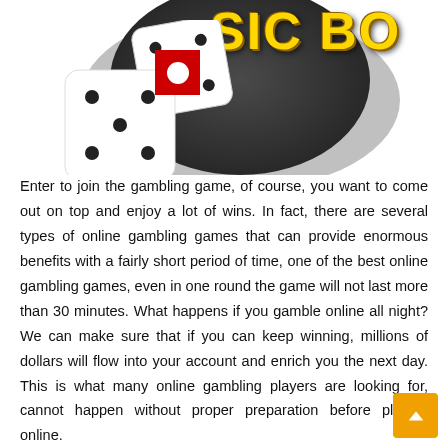[Figure (illustration): Sic Bo casino game illustration with two white dice, a dark circular background with dot pattern, and gold 'SIC BO' text logo with a red square icon in the center.]
Enter to join the gambling game, of course, you want to come out on top and enjoy a lot of wins. In fact, there are several types of online gambling games that can provide enormous benefits with a fairly short period of time, one of the best online gambling games, even in one round the game will not last more than 30 minutes. What happens if you gamble online all night? We can make sure that if you can keep winning, millions of dollars will flow into your account and enrich you the next day. This is what many online gambling players are looking for, cannot happen without proper preparation before playing online.